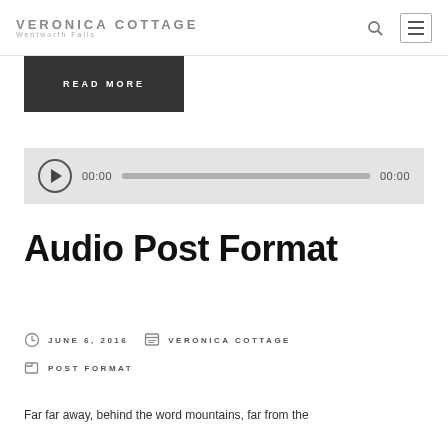Veronica Cottage Wentworth Falls
READ MORE
[Figure (other): Audio player widget showing play button, time display 00:00, progress bar, and duration 00:00]
Audio Post Format
JUNE 6, 2016   VERONICA COTTAGE
POST FORMAT
Far far away, behind the word mountains, far from the